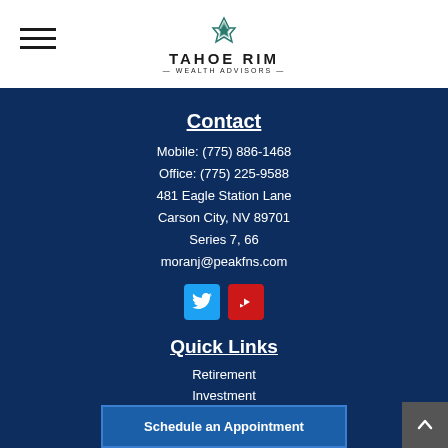[Figure (logo): Tahoe Rim Wealth Advisors logo with decorative leaf/mountain icon and text]
Contact
Mobile: (775) 886-1468
Office: (775) 225-9588
481 Eagle Station Lane
Carson City, NV 89701
Series 7, 66
moranj@peakfns.com
[Figure (infographic): Twitter and YouTube social media icon buttons]
Quick Links
Retirement
Investment
Schedule an Appointment